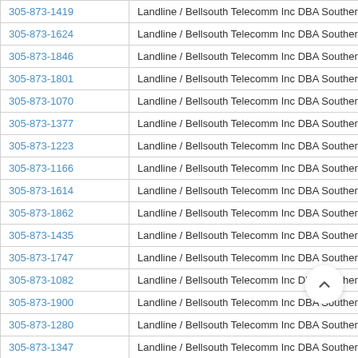| Phone | Type / Carrier |
| --- | --- |
| 305-873-1419 | Landline / Bellsouth Telecomm Inc DBA Southern Bell Tel & Tel |
| 305-873-1624 | Landline / Bellsouth Telecomm Inc DBA Southern Bell Tel & Tel |
| 305-873-1846 | Landline / Bellsouth Telecomm Inc DBA Southern Bell Tel & Tel |
| 305-873-1801 | Landline / Bellsouth Telecomm Inc DBA Southern Bell Tel & Tel |
| 305-873-1070 | Landline / Bellsouth Telecomm Inc DBA Southern Bell Tel & Tel |
| 305-873-1377 | Landline / Bellsouth Telecomm Inc DBA Southern Bell Tel & Tel |
| 305-873-1223 | Landline / Bellsouth Telecomm Inc DBA Southern Bell Tel & Tel |
| 305-873-1166 | Landline / Bellsouth Telecomm Inc DBA Southern Bell Tel & Tel |
| 305-873-1614 | Landline / Bellsouth Telecomm Inc DBA Southern Bell Tel & Tel |
| 305-873-1862 | Landline / Bellsouth Telecomm Inc DBA Southern Bell Tel & Tel |
| 305-873-1435 | Landline / Bellsouth Telecomm Inc DBA Southern Bell Tel & Tel |
| 305-873-1747 | Landline / Bellsouth Telecomm Inc DBA Southern Bell Tel & Tel |
| 305-873-1082 | Landline / Bellsouth Telecomm Inc DBA Southern Bell Tel & Tel |
| 305-873-1900 | Landline / Bellsouth Telecomm Inc DBA Southern Bell Tel & Tel |
| 305-873-1280 | Landline / Bellsouth Telecomm Inc DBA Southern Bell Tel & Tel |
| 305-873-1347 | Landline / Bellsouth Telecomm Inc DBA Southern Bell Bell |
| 305-873-1265 | Landline / Bellsouth Telecomm Inc DBA Southern Bell Tel & Tel |
| 305-873-1433 | Landline / Bellsouth Telecomm Inc DBA Southern Bell Tel & Tel |